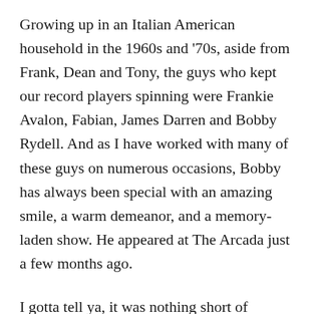Growing up in an Italian American household in the 1960s and '70s, aside from Frank, Dean and Tony, the guys who kept our record players spinning were Frankie Avalon, Fabian, James Darren and Bobby Rydell. And as I have worked with many of these guys on numerous occasions, Bobby has always been special with an amazing smile, a warm demeanor, and a memory-laden show. He appeared at The Arcada just a few months ago.
I gotta tell ya, it was nothing short of wonderful!
Bobby's future was somewhat uncertain a few years ago, in 2012 he underwent a double...